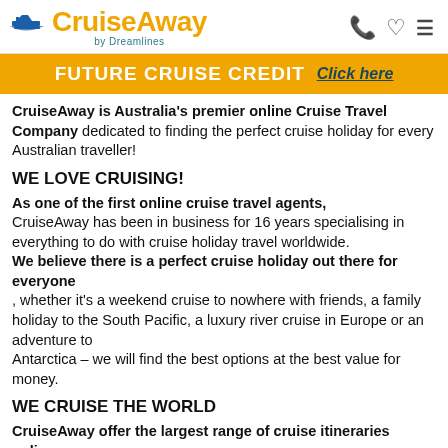CruiseAway by Dreamlines
FUTURE CRUISE CREDIT  Click here
CruiseAway is Australia's premier online Cruise Travel Company dedicated to finding the perfect cruise holiday for every Australian traveller!
WE LOVE CRUISING!
As one of the first online cruise travel agents, CruiseAway has been in business for 16 years specialising in everything to do with cruise holiday travel worldwide. We believe there is a perfect cruise holiday out there for everyone , whether it's a weekend cruise to nowhere with friends, a family holiday to the South Pacific, a luxury river cruise in Europe or an adventure to Antarctica – we will find the best options at the best value for money.
WE CRUISE THE WORLD
CruiseAway offer the largest range of cruise itineraries online with a focus on cruises sailing from Australian ports around...